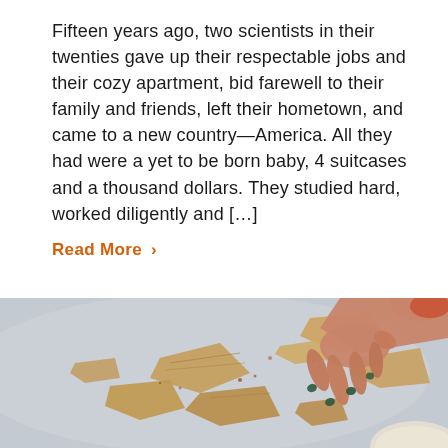Fifteen years ago, two scientists in their twenties gave up their respectable jobs and their cozy apartment, bid farewell to their family and friends, left their hometown, and came to a new country—America. All they had were a yet to be born baby, 4 suitcases and a thousand dollars. They studied hard, worked diligently and […]
Read More >
[Figure (photo): A hand with dark green nail polish reaching down to grab pieces of flatbread or crackers on a light grey surface, with a bowl partially visible in the lower right corner.]